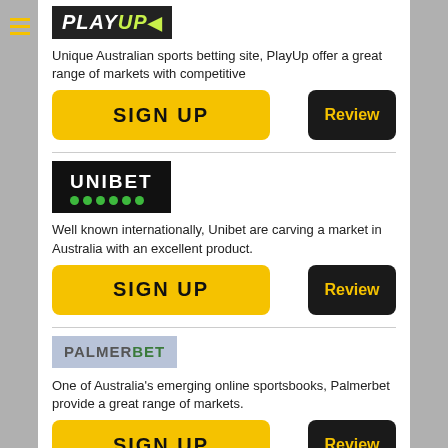[Figure (logo): PlayUp logo — dark background with PLAY in white italic bold and UP in yellow-green italic bold, with a green arrow/Y symbol]
Unique Australian sports betting site, PlayUp offer a great range of markets with competitive
SIGN UP
Review
[Figure (logo): Unibet logo — white uppercase bold text on black background with six green dots below]
Well known internationally, Unibet are carving a market in Australia with an excellent product.
SIGN UP
Review
[Figure (logo): PalmerBet logo — PALMER in grey and BET in green on a blue-grey background]
One of Australia's emerging online sportsbooks, Palmerbet provide a great range of markets.
SIGN UP
Review